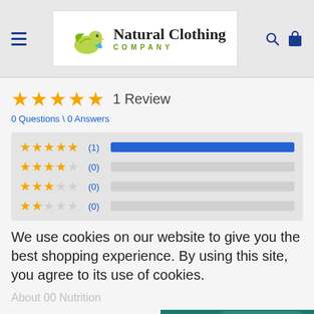[Figure (logo): Natural Clothing Company logo with a green bird and text]
1 Review
0 Questions \ 0 Answers
[Figure (bar-chart): Rating distribution]
We use cookies on our website to give you the best shopping experience. By using this site, you agree to its use of cookies.
Earn Yo
Chat with us